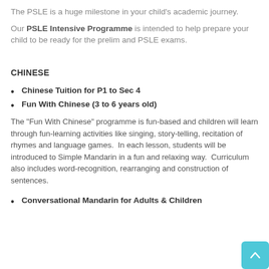The PSLE is a huge milestone in your child's academic journey.
Our PSLE Intensive Programme is intended to help prepare your child to be ready for the prelim and PSLE exams.
CHINESE
Chinese Tuition for P1 to Sec 4
Fun With Chinese (3 to 6 years old)
The “Fun With Chinese” programme is fun-based and children will learn through fun-learning activities like singing, story-telling, recitation of rhymes and language games.  In each lesson, students will be introduced to Simple Mandarin in a fun and relaxing way.  Curriculum also includes word-recognition, rearranging and construction of sentences.
Conversational Mandarin for Adults & Children